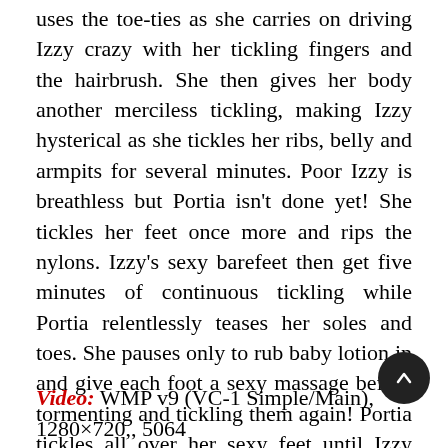uses the toe-ties as she carries on driving Izzy crazy with her tickling fingers and the hairbrush. She then gives her body another merciless tickling, making Izzy hysterical as she tickles her ribs, belly and armpits for several minutes. Poor Izzy is breathless but Portia isn't done yet! She tickles her feet once more and rips the nylons. Izzy's sexy barefeet then get five minutes of continuous tickling while Portia relentlessly teases her soles and toes. She pauses only to rub baby lotion in and give each foot a sexy massage before tormenting and tickling them again! Portia tickles all over her sexy feet until Izzy can't take any more – she's a great tickler and it's an awesomely hot and crazy F/F scene!
Video: WMP v9 (VC-1 Simple/Main), 1280×720,, 5064